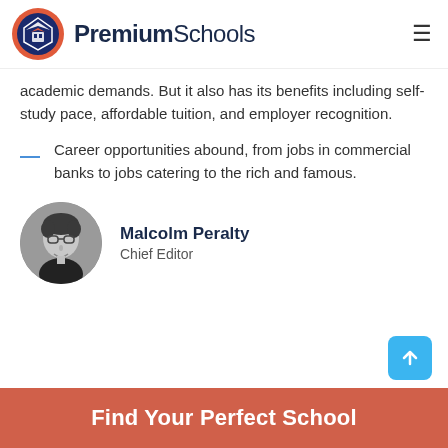PremiumSchools
academic demands. But it also has its benefits including self-study pace, affordable tuition, and employer recognition.
Career opportunities abound, from jobs in commercial banks to jobs catering to the rich and famous.
[Figure (photo): Black and white circular portrait photo of Malcolm Peralty, Chief Editor]
Malcolm Peralty
Chief Editor
Find Your Perfect School